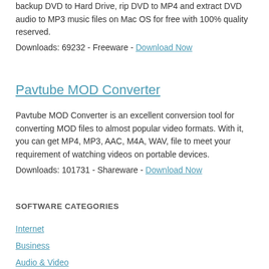backup DVD to Hard Drive, rip DVD to MP4 and extract DVD audio to MP3 music files on Mac OS for free with 100% quality reserved.
Downloads: 69232 - Freeware - Download Now
Pavtube MOD Converter
Pavtube MOD Converter is an excellent conversion tool for converting MOD files to almost popular video formats. With it, you can get MP4, MP3, AAC, M4A, WAV, file to meet your requirement of watching videos on portable devices.
Downloads: 101731 - Shareware - Download Now
SOFTWARE CATEGORIES
Internet
Business
Audio & Video